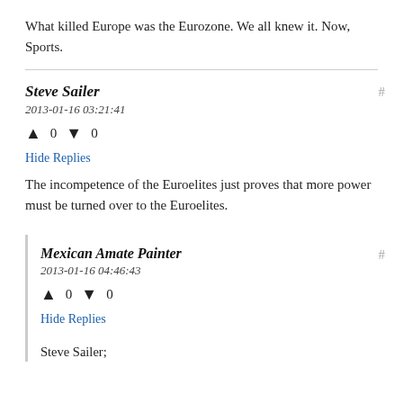What killed Europe was the Eurozone. We all knew it. Now, Sports.
Steve Sailer
2013-01-16 03:21:41
▲ 0 ▼ 0
Hide Replies
The incompetence of the Euroelites just proves that more power must be turned over to the Euroelites.
Mexican Amate Painter
2013-01-16 04:46:43
▲ 0 ▼ 0
Hide Replies
Steve Sailer;